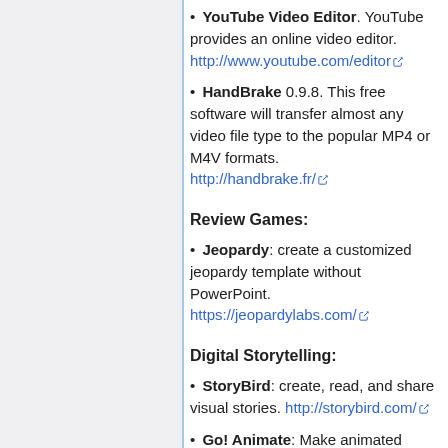YouTube Video Editor. YouTube provides an online video editor. http://www.youtube.com/editor
HandBrake 0.9.8. This free software will transfer almost any video file type to the popular MP4 or M4V formats. http://handbrake.fr/
Review Games:
Jeopardy: create a customized jeopardy template without PowerPoint. https://jeopardylabs.com/
Digital Storytelling:
StoryBird: create, read, and share visual stories. http://storybird.com/
Go! Animate: Make animated videos